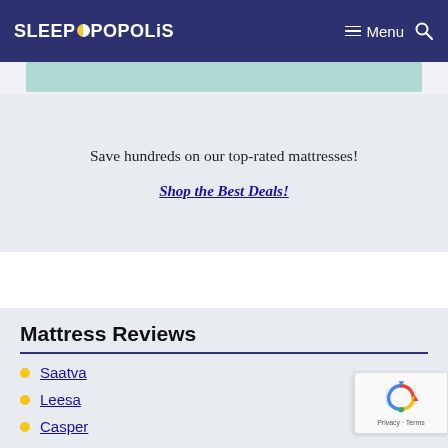SLEEPOPOLIS — Menu (hamburger icon) Search (magnifying glass icon)
Save hundreds on our top-rated mattresses!
Shop the Best Deals!
Mattress Reviews
Saatva
Leesa
Casper
Layla